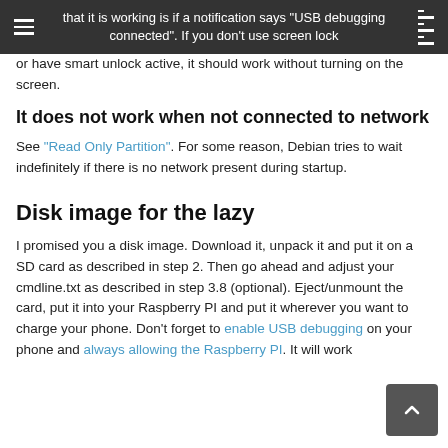that it is working is if a notification says "USB debugging connected". If you don't use screen lock or have smart unlock active, it should work without turning on the screen.
It does not work when not connected to network
See "Read Only Partition". For some reason, Debian tries to wait indefinitely if there is no network present during startup.
Disk image for the lazy
I promised you a disk image. Download it, unpack it and put it on a SD card as described in step 2. Then go ahead and adjust your cmdline.txt as described in step 3.8 (optional). Eject/unmount the card, put it into your Raspberry PI and put it wherever you want to charge your phone. Don't forget to enable USB debugging on your phone and always allowing the Raspberry PI. It will work